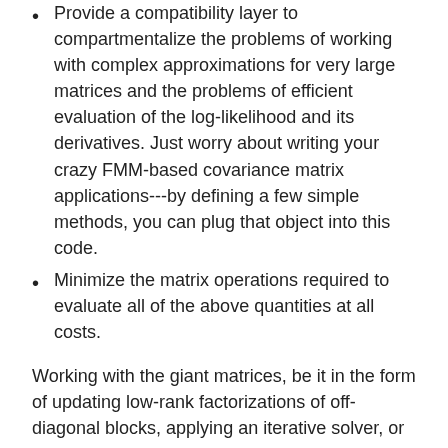Provide a compatibility layer to compartmentalize the problems of working with complex approximations for very large matrices and the problems of efficient evaluation of the log-likelihood and its derivatives. Just worry about writing your crazy FMM-based covariance matrix applications---by defining a few simple methods, you can plug that object into this code.
Minimize the matrix operations required to evaluate all of the above quantities at all costs.
Working with the giant matrices, be it in the form of updating low-rank factorizations of off-diagonal blocks, applying an iterative solver, or computing a trace, is a significant runtime bottleneck. This package aims to aggressively minimize all of these operations. Features to accomplish this include:
An interface that emphasizes the option to jointly